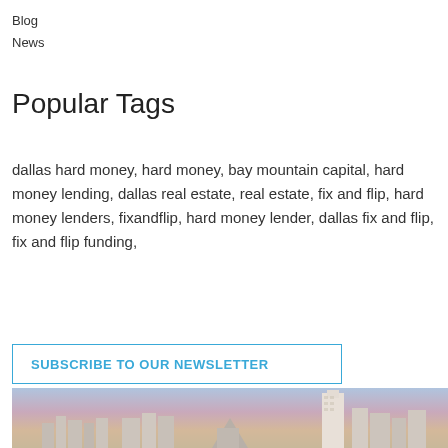Blog
News
Popular Tags
dallas hard money, hard money, bay mountain capital, hard money lending, dallas real estate, real estate, fix and flip, hard money lenders, fixandflip, hard money lender, dallas fix and flip, fix and flip funding,
SUBSCRIBE TO OUR NEWSLETTER
[Figure (photo): Aerial/skyline photo of Dallas city skyline at dusk/sunset with tall skyscrapers and the distinctive Dallas pyramid building visible.]